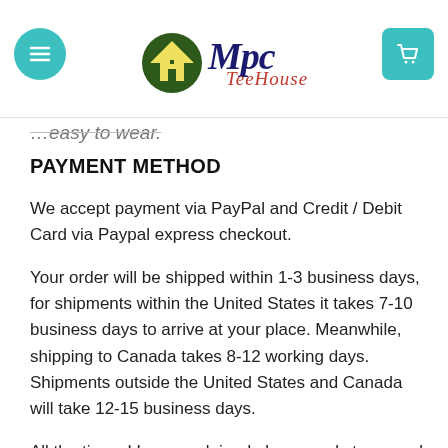Mpc TeeHouse
…easy to wear.
PAYMENT METHOD
We accept payment via PayPal and Credit / Debit Card via Paypal express checkout.
Your order will be shipped within 1-3 business days, for shipments within the United States it takes 7-10 business days to arrive at your place. Meanwhile, shipping to Canada takes 8-12 working days. Shipments outside the United States and Canada will take 12-15 business days.
All the times I have explained above apply to normal days not the holiday season. Normally, vacation times for all shipments experience a slight delay.